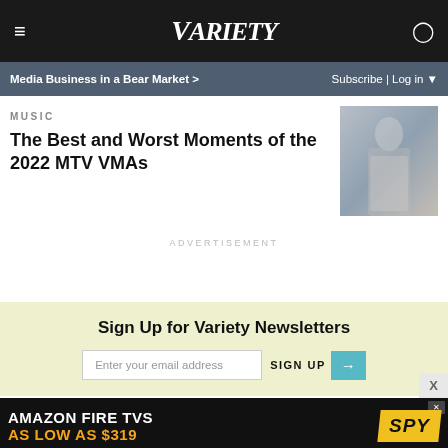VARIETY
Media Business in a Bear Market >
Subscribe | Log in
MUSIC
The Best and Worst Moments of the 2022 MTV VMAs
[Figure (photo): Person in a sparkly/sequined dress at what appears to be a red carpet event]
ADVERTISEMENT
Sign Up for Variety Newsletters
Enter your email address
SIGN UP →
[Figure (other): Amazon Fire TVs advertisement banner: 'AMAZON FIRE TVS AS LOW AS $319' with SPY logo]